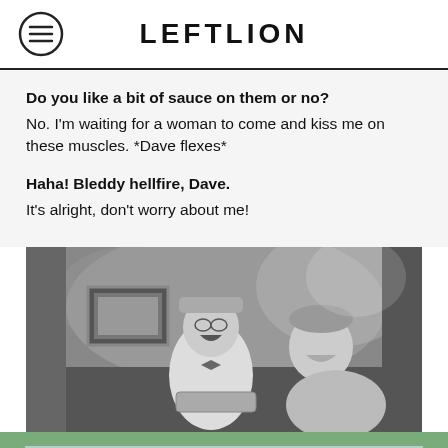LEFTLION
Do you like a bit of sauce on them or no?
No. I'm waiting for a woman to come and kiss me on these muscles. *Dave flexes*
Haha! Bleddy hellfire, Dave.
It's alright, don't worry about me!
[Figure (photo): Black and white photo of two people laughing — an older man in a white coat and flat cap with glasses, and a younger boy, in what appears to be a cave or stone-walled venue. A framed picture hangs on the wall behind them.]
SIGN UP FOR OUR WEEKLY NEWSLETTER